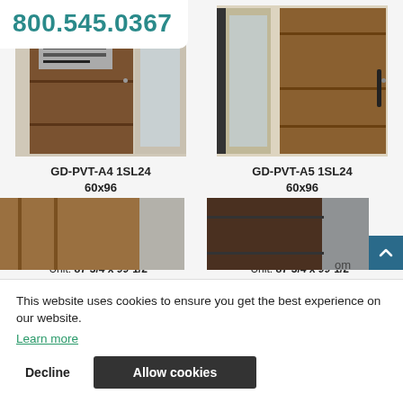800.545.0367
[Figure (photo): Brown pivot door with horizontal stripe detailing and a metal mail slot, shown with one sidelite on the right (GD-PVT-A4 1SL24)]
GD-PVT-A4 1SL24
60x96
Pivot Door
Single with 1 Sidelite
Slab: 60 x 96"
Sidelite Width: 24"
Unit: 87-3/4 x 99-1/2"
Customize Pivot Door
[Figure (photo): Brown pivot door with horizontal stripe detailing and a dark vertical handle bar, shown with one sidelite on the right (GD-PVT-A5 1SL24)]
GD-PVT-A5 1SL24
60x96
Pivot Door
Single with 1 Sidelite
Slab: 60 x 96"
Sidelite Width: 24"
Unit: 87-3/4 x 99-1/2"
Customize Pivot Door
This website uses cookies to ensure you get the best experience on our website.
Learn more
Decline
Allow cookies